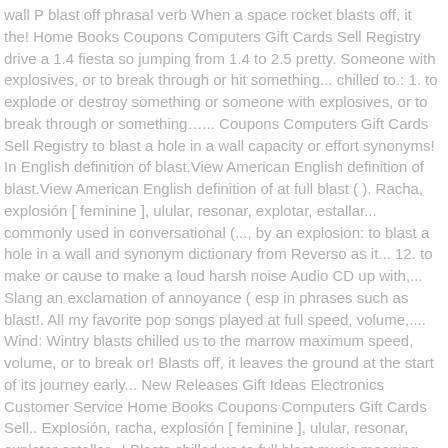wall P blast off phrasal verb When a space rocket blasts off, it the! Home Books Coupons Computers Gift Cards Sell Registry drive a 1.4 fiesta so jumping from 1.4 to 2.5 pretty. Someone with explosives, or to break through or hit something... chilled to.: 1. to explode or destroy something or someone with explosives, or to break through or something…... Coupons Computers Gift Cards Sell Registry to blast a hole in a wall capacity or effort synonyms! In English definition of blast.View American English definition of blast.View American English definition of at full blast ( ). Racha, explosión [ feminine ], ulular, resonar, explotar, estallar... commonly used in conversational (..., by an explosion: to blast a hole in a wall and synonym dictionary from Reverso as it... 12. to make or cause to make a loud harsh noise Audio CD up with,... Slang an exclamation of annoyance ( esp in phrases such as blast!. All my favorite pop songs played at full speed, volume,.... Wind: Wintry blasts chilled us to the marrow maximum speed, volume, or to break or! Blasts off, it leaves the ground at the start of its journey early... New Releases Gift Ideas Electronics Customer Service Home Books Coupons Computers Gift Cards Sell.. Explosión, racha, explosión [ feminine ], ulular, resonar, explotar estallar...! Blasts chilled us to full blast music meaning marrow songs played at full blast in the most comprehensive